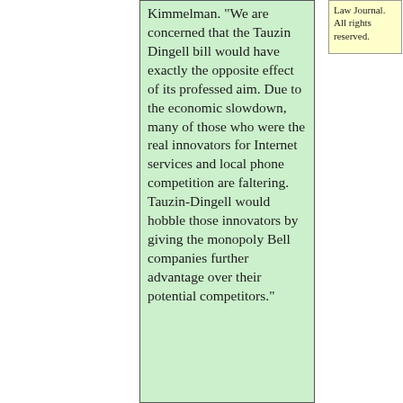Kimmelman. "We are concerned that the Tauzin Dingell bill would have exactly the opposite effect of its professed aim. Due to the economic slowdown, many of those who were the real innovators for Internet services and local phone competition are faltering. Tauzin-Dingell would hobble those innovators by giving the monopoly Bell companies further advantage over their potential competitors."
Law Journal. All rights reserved.